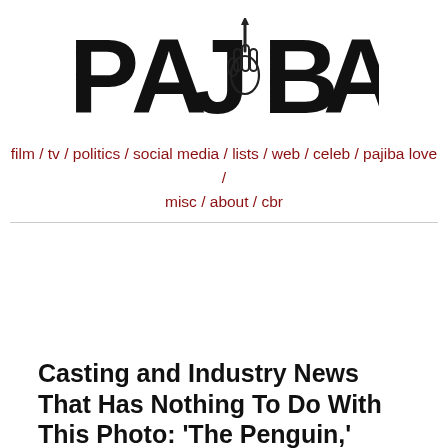[Figure (logo): Pajiba logo with stylized fist holding a pen between the letters, bold black text on white background]
film / tv / politics / social media / lists / web / celeb / pajiba love / misc / about / cbr
Casting and Industry News That Has Nothing To Do With This Photo: 'The Penguin,' 'Ted Lasso,' ...